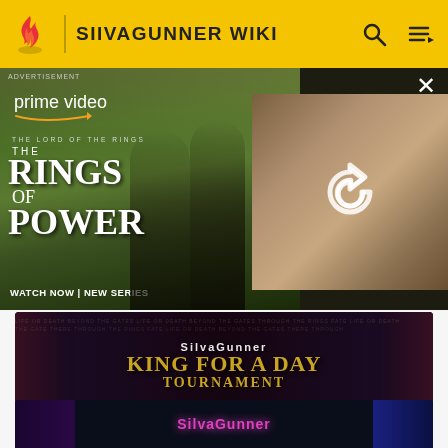SIIVAGUNNER WIKI
[Figure (screenshot): Amazon Prime Video advertisement for The Lord of the Rings: The Rings of Power — 'WATCH NOW | NEW SERIES']
[Figure (screenshot): SilvaGunner: King for a Day Tournament wiki card with title 'The Sound - SilvaGunner: King for a Day Tournament' and attribution 'SilvaGunner Wiki']
[Figure (screenshot): Partial view of another SilvaGunner wiki card at the bottom of the page]